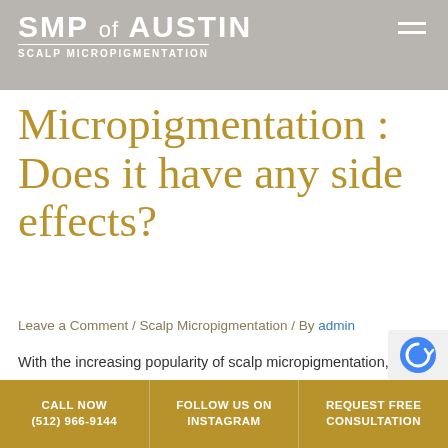SMP of AUSTIN — SCALP MICROPIGMENTATION
Micropigmentation : Does it have any side effects?
Leave a Comment / Scalp Micropigmentation / By admin
With the increasing popularity of scalp micropigmentation, there are a lot of questions and concerns over the same. One such question is, does it have any side effects. SMP is a non-invasive hair loss treatment and usually does not entail any major or long-term side effects, one of the reasons why this treatment is so ...
CALL NOW (512) 966-9144 | FOLLOW US ON INSTAGRAM | REQUEST FREE CONSULTATION